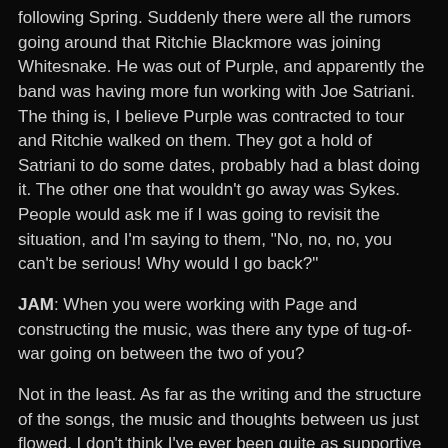following Spring. Suddenly there were all the rumors going around that Ritchie Blackmore was joining Whitesnake. He was out of Purple, and apparently the band was having more fun working with Joe Satriani. The thing is, I believe Purple was contracted to tour and Ritchie walked on them. They got a hold of Satriani to do some dates, probably had a blast doing it. The other one that wouldn't go away was Sykes. People would ask me if I was going to revisit the situation, and I'm saying to them, "No, no, no, you can't be serious! Why would I go back?"
JAM: When you were working with Page and constructing the music, was there any type of tug-of-war going on between the two of you?
Not in the least. As far as the writing and the structure of the songs, the music and thoughts between us just flowed. I don't think I've ever been quite as supportive towards a colleague as I was with Jimmy.
JAM: Were there regrets when you left Japan knowing the Coverdale / Page union was over?